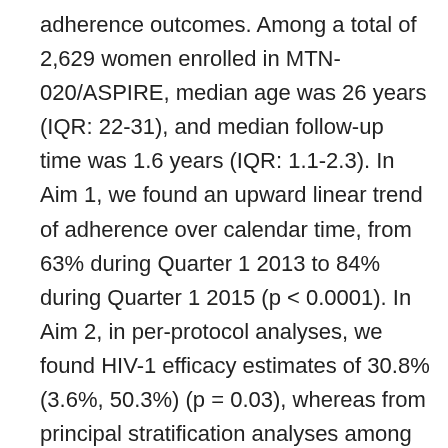adherence outcomes. Among a total of 2,629 women enrolled in MTN-020/ASPIRE, median age was 26 years (IQR: 22-31), and median follow-up time was 1.6 years (IQR: 1.1-2.3). In Aim 1, we found an upward linear trend of adherence over calendar time, from 63% during Quarter 1 2013 to 84% during Quarter 1 2015 (p < 0.0001). In Aim 2, in per-protocol analyses, we found HIV-1 efficacy estimates of 30.8% (3.6%, 50.3%) (p = 0.03), whereas from principal stratification analyses among the highest adherers HIV-1 efficacy estimates using 6 month data with the ≥0.9 mg cutoff was 53.6% (16.5%, 74.3%) (p = 0.01). Marginal structural models produced HIV-1 efficacy estimates ranging from 48.8% (21.8%, 66.4%) (p = 0.0019) to 56.5% (22.8%, 71.9%) (p = 0.0002). From the correlates of